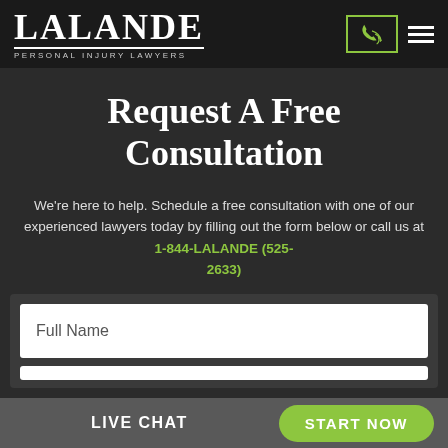LALANDE PERSONAL INJURY LAWYERS
Request A Free Consultation
We're here to help. Schedule a free consultation with one of our experienced lawyers today by filling out the form below or call us at 1-844-LALANDE (525-2633)
Full Name
LIVE CHAT | START NOW